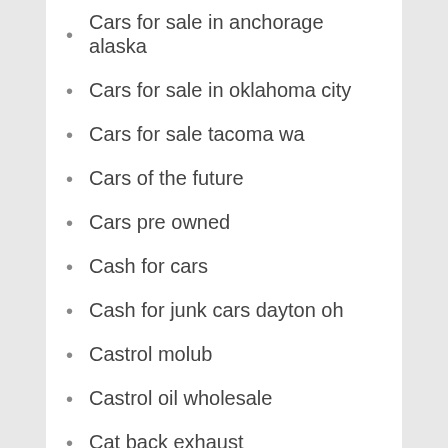Cars for sale in anchorage alaska
Cars for sale in oklahoma city
Cars for sale tacoma wa
Cars of the future
Cars pre owned
Cash for cars
Cash for junk cars dayton oh
Castrol molub
Castrol oil wholesale
Cat back exhaust
Cdl classes
Certified pre owned vehicles